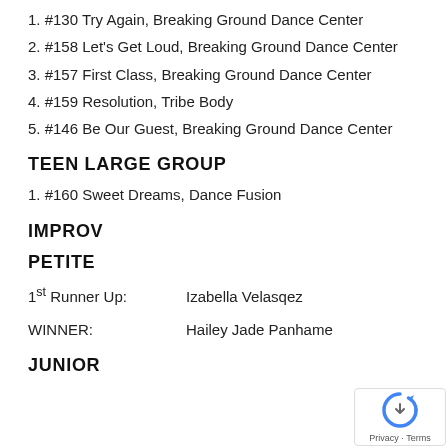1. #130 Try Again, Breaking Ground Dance Center
2. #158 Let's Get Loud, Breaking Ground Dance Center
3. #157 First Class, Breaking Ground Dance Center
4. #159 Resolution, Tribe Body
5. #146 Be Our Guest, Breaking Ground Dance Center
TEEN LARGE GROUP
1. #160 Sweet Dreams, Dance Fusion
IMPROV
PETITE
1st Runner Up:      Izabella Velasqez
WINNER:              Hailey Jade Panhame
JUNIOR